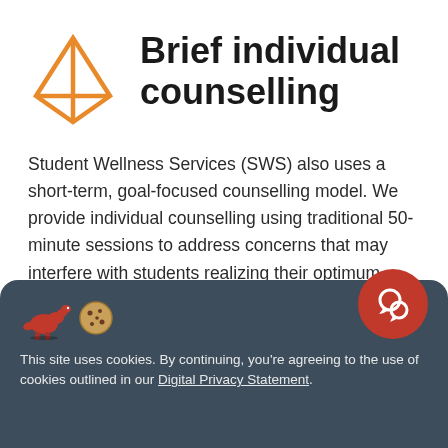[Figure (illustration): Orange geometric 3D diamond/pyramid shape outline logo]
Brief individual counselling
Student Wellness Services (SWS) also uses a short-term, goal-focused counselling model. We provide individual counselling using traditional 50-minute sessions to address concerns that may interfere with students realizing their optimum level of wellness. Students referred to brief individual counselling will collaborate with their...
This site uses cookies. By continuing, you're agreeing to the use of cookies outlined in our Digital Privacy Statement.